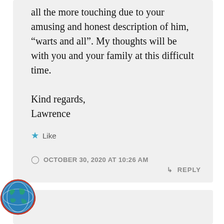all the more touching due to your amusing and honest description of him, “warts and all”. My thoughts will be with you and your family at this difficult time.

Kind regards,
Lawrence
★ Like
OCTOBER 30, 2020 AT 10:26 AM
↳ REPLY
[Figure (photo): Partial avatar/profile image at bottom left, circular crop with red border, showing a globe/earth illustration]